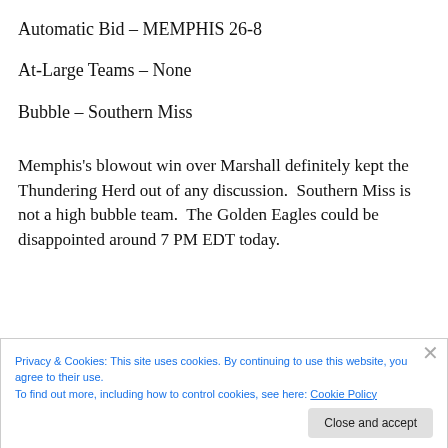Automatic Bid – MEMPHIS 26-8
At-Large Teams – None
Bubble – Southern Miss
Memphis's blowout win over Marshall definitely kept the Thundering Herd out of any discussion.  Southern Miss is not a high bubble team.  The Golden Eagles could be disappointed around 7 PM EDT today.
Privacy & Cookies: This site uses cookies. By continuing to use this website, you agree to their use.
To find out more, including how to control cookies, see here: Cookie Policy